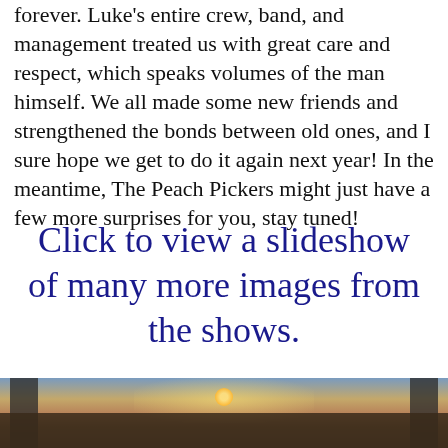forever. Luke's entire crew, band, and management treated us with great care and respect, which speaks volumes of the man himself. We all made some new friends and strengthened the bonds between old ones, and I sure hope we get to do it again next year! In the meantime, The Peach Pickers might just have a few more surprises for you, stay tuned!
Click to view a slideshow of many more images from the shows.
[Figure (photo): A wide-angle concert photo showing a massive crowd at an outdoor venue at sunset, with large speaker/lighting towers on each side and a bright sun/glow on the horizon.]